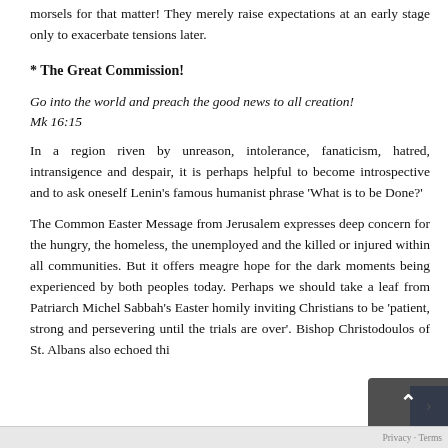morsels for that matter! They merely raise expectations at an early stage only to exacerbate tensions later.
* The Great Commission!
Go into the world and preach the good news to all creation!
Mk 16:15
In a region riven by unreason, intolerance, fanaticism, hatred, intransigence and despair, it is perhaps helpful to become introspective and to ask oneself Lenin's famous humanist phrase 'What is to be Done?'
The Common Easter Message from Jerusalem expresses deep concern for the hungry, the homeless, the unemployed and the killed or injured within all communities. But it offers meagre hope for the dark moments being experienced by both peoples today. Perhaps we should take a leaf from Patriarch Michel Sabbah's Easter homily inviting Christians to be 'patient, strong and persevering until the trials are over'. Bishop Christodoulos of St. Albans also echoed this...